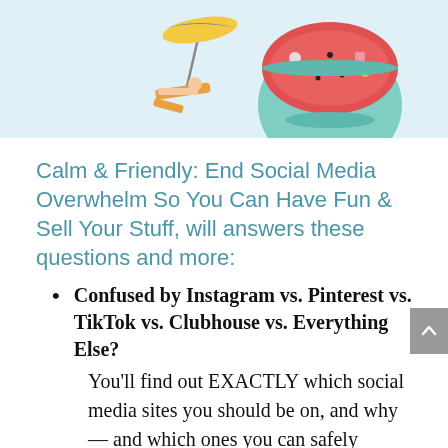[Figure (illustration): Summer illustration showing a person relaxing in a lounge chair under a colorful umbrella next to a large bowl of watermelon salad on a light blue background]
Calm & Friendly: End Social Media Overwhelm So You Can Have Fun & Sell Your Stuff, will answers these questions and more:
Confused by Instagram vs. Pinterest vs. TikTok vs. Clubhouse vs. Everything Else? You'll find out EXACTLY which social media sites you should be on, and why — and which ones you can safely ignore.